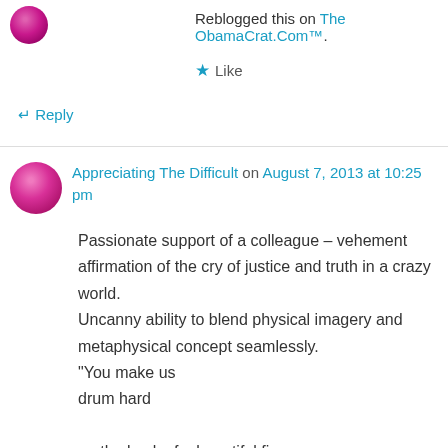Reblogged this on The ObamaCrat.Com™.
★ Like
↵ Reply
Appreciating The Difficult on August 7, 2013 at 10:25 pm
Passionate support of a colleague – vehement affirmation of the cry of justice and truth in a crazy world.
Uncanny ability to blend physical imagery and metaphysical concept seamlessly.
"You make us
drum hard

on the back of a beautiful fire